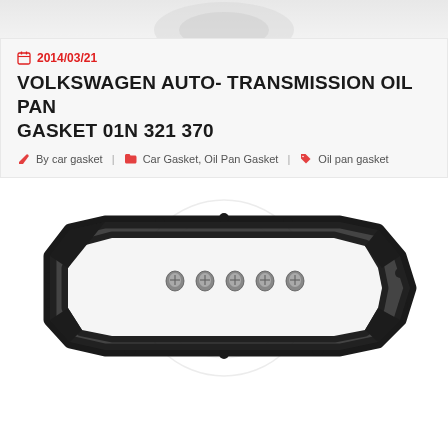[Figure (photo): Partial top strip showing faded product image at top of page]
2014/03/21
VOLKSWAGEN AUTO- TRANSMISSION OIL PAN GASKET 01N 321 370
By car gasket | Car Gasket, Oil Pan Gasket | Oil pan gasket
[Figure (photo): Photo of a black rubber Volkswagen automatic transmission oil pan gasket (01N 321 370) with five small bolts/screws in the center, displayed on a white background with a faint circular watermark logo]